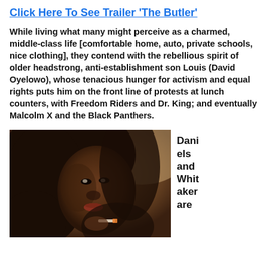Click Here To See Trailer 'The Butler'
While living what many might perceive as a charmed, middle-class life [comfortable home, auto, private schools, nice clothing], they contend with the rebellious spirit of older headstrong, anti-establishment son Louis (David Oyelowo), whose tenacious hunger for activism and equal rights puts him on the front line of protests at lunch counters, with Freedom Riders and Dr. King; and eventually Malcolm X and the Black Panthers.
[Figure (photo): A woman with long curly dark hair and dark skin, looking at the camera, holding a cigarette, with warm brownish background.]
Daniels and Whitaker are